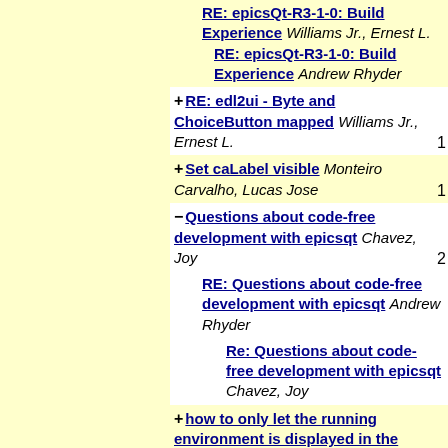RE: epicsQt-R3-1-0: Build Experience Williams Jr., Ernest L. RE: epicsQt-R3-1-0: Build Experience Andrew Rhyder
+ RE: edl2ui - Byte and ChoiceButton mapped Williams Jr., Ernest L. | count: 1
+ Set caLabel visible Monteiro Carvalho, Lucas Jose | count: 1
- Questions about code-free development with epicsqt Chavez, Joy | count: 2
RE: Questions about code-free development with epicsqt Andrew Rhyder
Re: Questions about code-free development with epicsqt Chavez, Joy
+ how to only let the running environment is displayed in the client? huxq@hhmtc.com | count: 1
caQtDM new major version Mezger Anton Christian (PSI)
[no subject] Mezger Anton